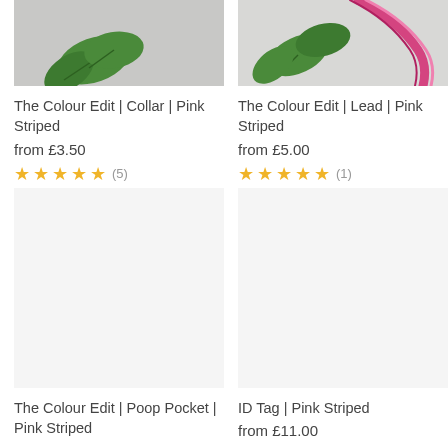[Figure (photo): Product photo of pink striped collar with green leaf on grey background (top portion visible)]
The Colour Edit | Collar | Pink Striped
from £3.50
★★★★★ (5)
[Figure (photo): Product photo of pink striped lead with green leaves on white background (top portion visible)]
The Colour Edit | Lead | Pink Striped
from £5.00
★★★★★ (1)
[Figure (photo): Product photo placeholder for pink striped poop pocket (white background)]
The Colour Edit | Poop Pocket | Pink Striped
[Figure (photo): Product photo placeholder for pink striped ID tag (white background)]
ID Tag | Pink Striped
from £11.00